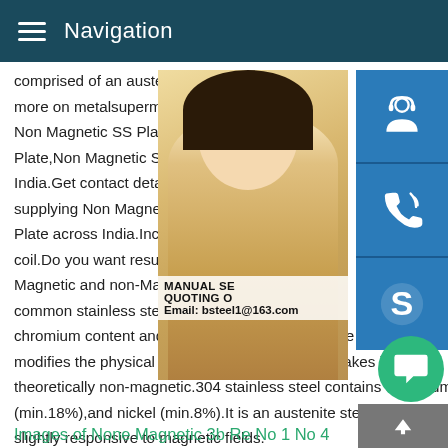Navigation
comprised of an austenite structure,then it more on metalsupermarketsNon Magnetic Non Magnetic SS Plate Find here Non Ma Plate,Non Magnetic SS Plate manufacture India.Get contact details address of compa supplying Non Magnetic Stainless Steel P Plate across India.Including results for no coil.Do you want results only for Non mag Magnetic and non-Magnetic Stainless Ste common stainless steels are austenitic the chromium content and nickel is also added.It is the nickel which modifies the physical structure of the steel and makes it theoretically non-magnetic.304 stainless steel contains chromium (min.18%),and nickel (min.8%).It is an austenite steel and is only slightly responsive to magnetic fields.
[Figure (photo): Woman with headset customer service representative photo with blue icon buttons for support, phone/call, and Skype on the right side. Text overlay: MANUAL SE... QUOTING O... Email: bsteel1@163.com]
Images of None Magnetic 3b Re No 1 No 4...